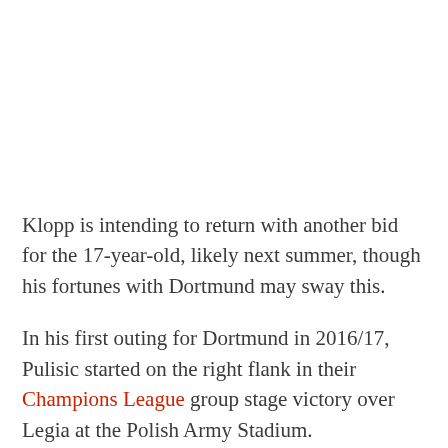Klopp is intending to return with another bid for the 17-year-old, likely next summer, though his fortunes with Dortmund may sway this.
In his first outing for Dortmund in 2016/17, Pulisic started on the right flank in their Champions League group stage victory over Legia at the Polish Army Stadium.